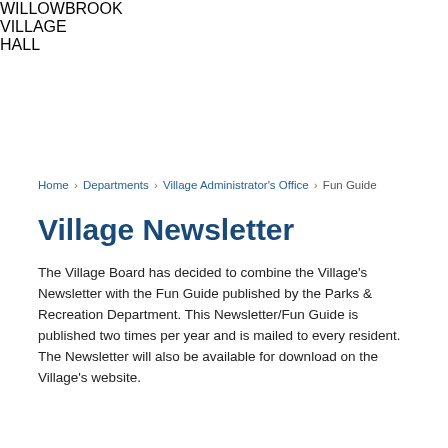[Figure (photo): Photo of Willowbrook Village Hall exterior showing the building sign reading 'WILLOWBROOK VILLAGE HALL' in teal lettering on a white stone wall, with a tree on the left and a modern roof overhang.]
Home › Departments › Village Administrator's Office › Fun Guide
Village Newsletter
The Village Board has decided to combine the Village's Newsletter with the Fun Guide published by the Parks & Recreation Department. This Newsletter/Fun Guide is published two times per year and is mailed to every resident. The Newsletter will also be available for download on the Village's website.